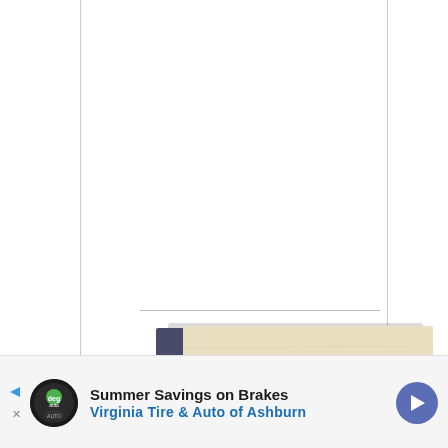[Figure (photo): Book cover titled 'How to File a VA Claim' featuring an American flag and bald eagle on a worn paper background, shown as a 3D book with spine visible.]
[Figure (infographic): Advertisement banner for 'Summer Savings on Brakes' by Virginia Tire & Auto of Ashburn, featuring the shop logo (circular black and green auto logo), bold text, and a blue directional arrow icon on the right.]